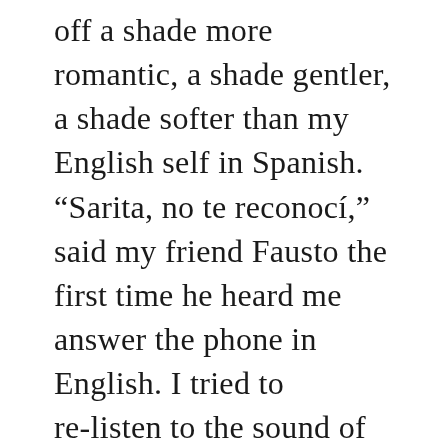off a shade more romantic, a shade gentler, a shade softer than my English self in Spanish. “Sarita, no te reconocí,” said my friend Fausto the first time he heard me answer the phone in English. I tried to re-listen to the sound of my own voice: “Hey, what’s up? Yeah, sure, that sounds awesome, see you at eight.” y no